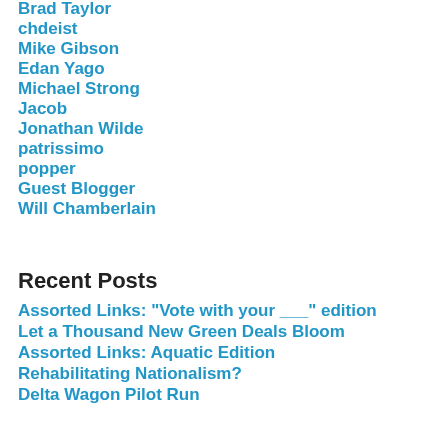Brad Taylor
chdeist
Mike Gibson
Edan Yago
Michael Strong
Jacob
Jonathan Wilde
patrissimo
popper
Guest Blogger
Will Chamberlain
Recent Posts
Assorted Links: "Vote with your ___" edition
Let a Thousand New Green Deals Bloom
Assorted Links: Aquatic Edition
Rehabilitating Nationalism?
Delta Wagon Pilot Run